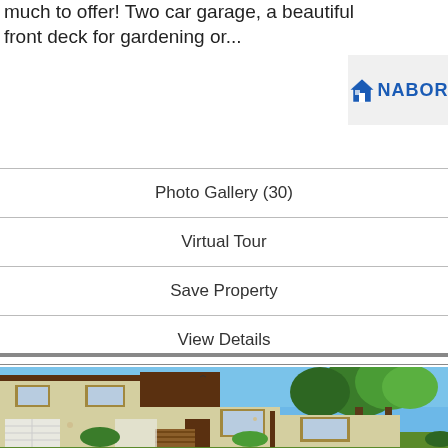much to offer! Two car garage, a beautiful front deck for gardening or...
[Figure (logo): NABOR real estate logo with house icon]
Photo Gallery (30)
Virtual Tour
Save Property
View Details
[Figure (photo): Exterior photo of a two-story residential house with beige siding, brown trim, trees in background, blue sky, front porch with wooden stairs and deck, garage on left side]